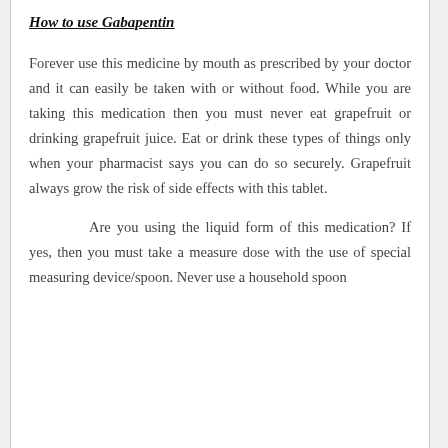How to use Gabapentin
Forever use this medicine by mouth as prescribed by your doctor and it can easily be taken with or without food. While you are taking this medication then you must never eat grapefruit or drinking grapefruit juice. Eat or drink these types of things only when your pharmacist says you can do so securely. Grapefruit always grow the risk of side effects with this tablet.
Are you using the liquid form of this medication? If yes, then you must take a measure dose with the use of special measuring device/spoon. Never use a household spoon